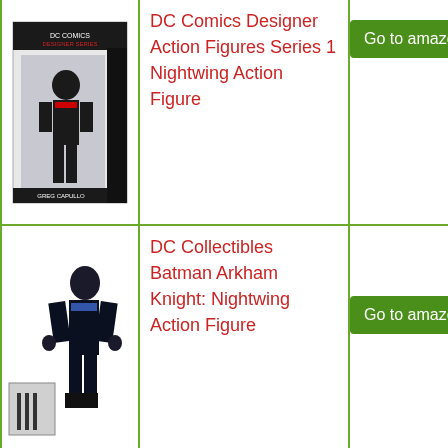[Figure (photo): DC Comics Designer Action Figures Series 1 Nightwing Action Figure product image in packaging]
DC Comics Designer Action Figures Series 1 Nightwing Action Figure
Go to amazon.co
[Figure (photo): DC Collectibles Batman Arkham Knight Nightwing Action Figure product image with accessory]
DC Collectibles Batman Arkham Knight: Nightwing Action Figure
Go to amazon.co